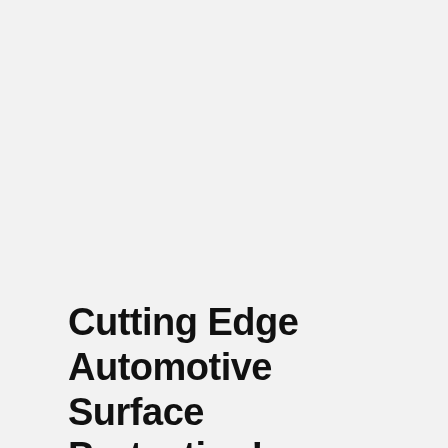Cutting Edge Automotive Surface Protection!